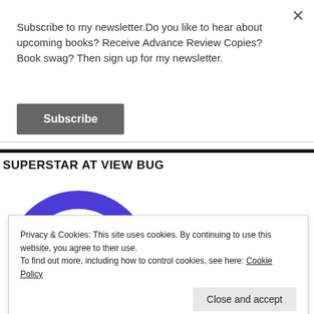Subscribe to my newsletter.Do you like to hear about upcoming books? Receive Advance Review Copies? Book swag? Then sign up for my newsletter.
Subscribe
SUPERSTAR AT VIEW BUG
[Figure (logo): ViewBug badge logo with blue/purple arc and teal V-shaped checkmark icon]
Privacy & Cookies: This site uses cookies. By continuing to use this website, you agree to their use.
To find out more, including how to control cookies, see here: Cookie Policy
Close and accept